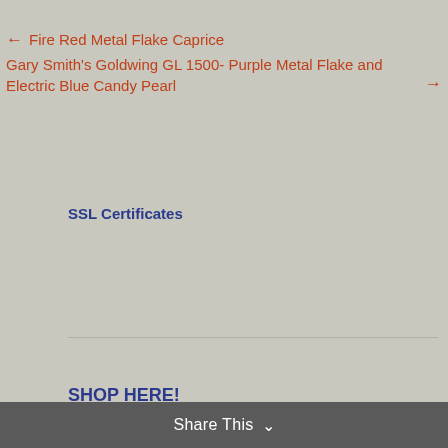← Fire Red Metal Flake Caprice
Gary Smith's Goldwing GL 1500- Purple Metal Flake and Electric Blue Candy Pearl →
SSL Certificates
[Figure (other): Two-panel image area: left panel is light grey/white, right panel shows a close-up of a metallic paint finish with red, purple, and electric blue candy pearl colors on what appears to be a motorcycle part]
SHOP HERE!
Share This ∨